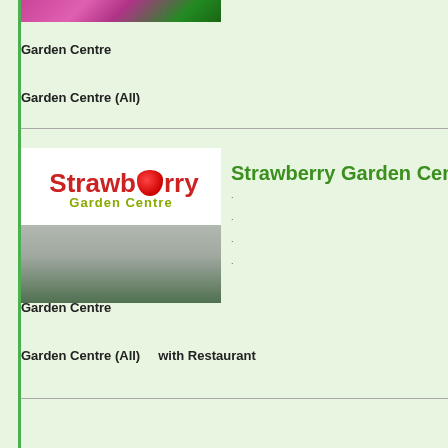[Figure (photo): Top partial image of flowers/plants (purple/pink flowers)]
.
Garden Centre
Garden Centre (All)
[Figure (logo): Strawberry Garden Centre logo: red 'Strawberry' text with strawberry icon, green 'Garden Centre' subtitle, below is a grey/green blurred outdoor image]
Strawberry Garden Ce...
.
.
.
.
Garden Centre
Garden Centre (All)     with Restaurant